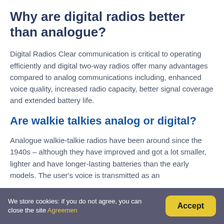Why are digital radios better than analogue?
Digital Radios Clear communication is critical to operating efficiently and digital two-way radios offer many advantages compared to analog communications including, enhanced voice quality, increased radio capacity, better signal coverage and extended battery life.
Are walkie talkies analog or digital?
Analogue walkie-talkie radios have been around since the 1940s – although they have improved and got a lot smaller, lighter and have longer-lasting batteries than the early models. The user's voice is transmitted as an
We store cookies: if you do not agree, you can close the site Agreemen